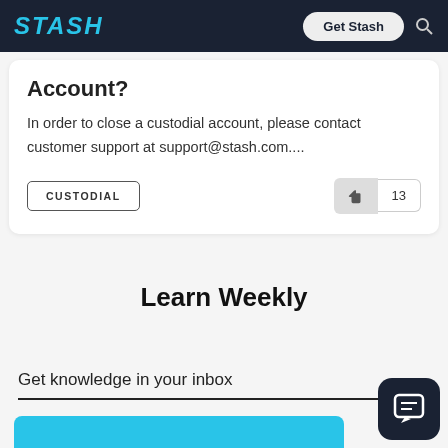STASH | Get Stash
Account?
In order to close a custodial account, please contact customer support at support@stash.com....
CUSTODIAL
13
Learn Weekly
Get knowledge in your inbox